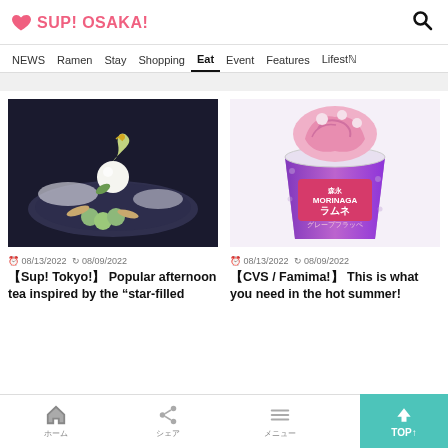SUP! OSAKA!
NEWS  Ramen  Stay  Shopping  Eat  Event  Features  Lifestyle
[Figure (photo): Elegant dessert plate with green grapes, white sphere, and decorative elements on a glass plate with powdered sugar]
08/13/2022  08/09/2022
【Sup! Tokyo!】 Popular afternoon tea inspired by the "star-filled
[Figure (photo): Purple Morinaga Ramune grape frappe drink in a branded plastic cup with pink swirl soft serve on top]
08/13/2022  08/09/2022
【CVS / Famima!】 This is what you need in the hot summer!
ホーム  シェア  メニュー  お問合  TOP↑